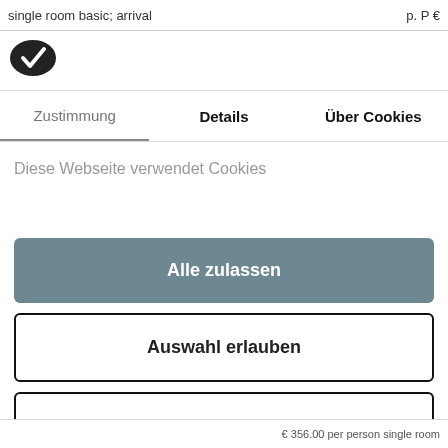single room basic; arrival    p. P €
[Figure (logo): Cookiebot logo: dark oval cookie shape with checkmark]
Zustimmung   Details   Über Cookies
Diese Webseite verwendet Cookies
Alle zulassen
Auswahl erlauben
Ablehnen
Powered by Cookiebot by Usercentrics
€ 356.00 per person single room